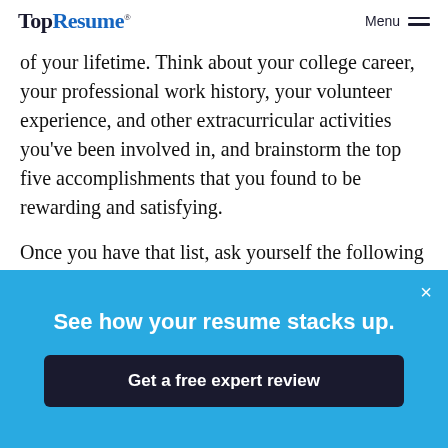TopResume® Menu
of your lifetime. Think about your college career, your professional work history, your volunteer experience, and other extracurricular activities you've been involved in, and brainstorm the top five accomplishments that you found to be rewarding and satisfying.
Once you have that list, ask yourself the following questions:
Why were these achievements so important to
[Figure (infographic): Blue promotional banner overlay with close button (×). Contains headline 'See how your resume stacks up.' and a dark navy button 'Get a free expert review'.]